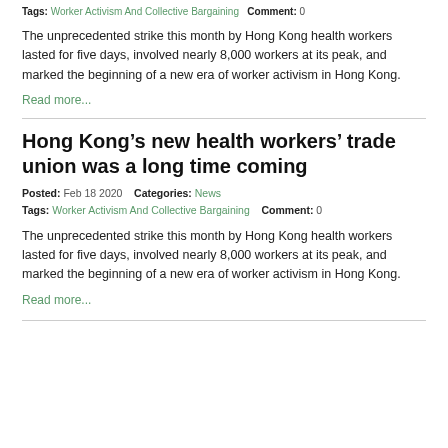Tags: Worker Activism And Collective Bargaining   Comment: 0
The unprecedented strike this month by Hong Kong health workers lasted for five days, involved nearly 8,000 workers at its peak, and marked the beginning of a new era of worker activism in Hong Kong.
Read more...
Hong Kong’s new health workers’ trade union was a long time coming
Posted: Feb 18 2020   Categories: News
Tags: Worker Activism And Collective Bargaining   Comment: 0
The unprecedented strike this month by Hong Kong health workers lasted for five days, involved nearly 8,000 workers at its peak, and marked the beginning of a new era of worker activism in Hong Kong.
Read more...